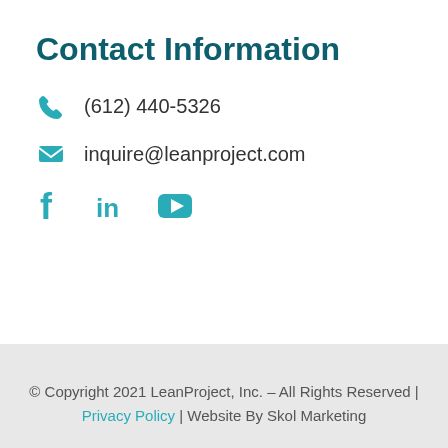Contact Information
(612) 440-5326
inquire@leanproject.com
[Figure (illustration): Social media icons: Facebook, LinkedIn, YouTube in teal color]
© Copyright 2021 LeanProject, Inc. – All Rights Reserved | Privacy Policy | Website By Skol Marketing